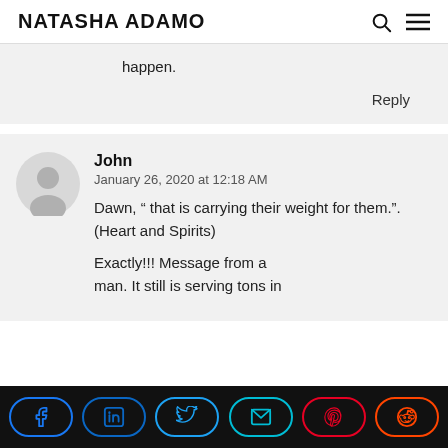NATASHA ADAMO
happen.
Reply
John
January 26, 2020 at 12:18 AM
Dawn, “ that is carrying their weight for them.”. (Heart and Spirits)
Exactly!!! Message from a man. It still is serving tons in
Social share bar: Facebook, LinkedIn, Twitter, Email, Pinterest, Reddit